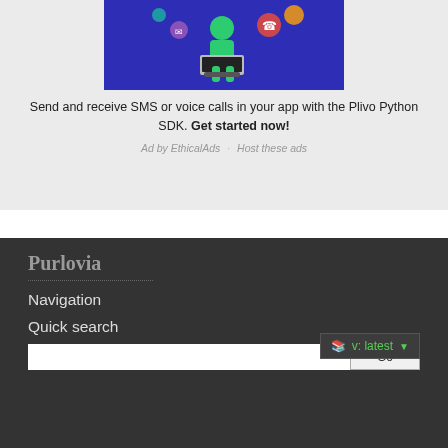[Figure (illustration): Illustration of a person sitting and using a laptop with communication icons, on a blue/purple background]
Send and receive SMS or voice calls in your app with the Plivo Python SDK. Get started now!
Ad by EthicalAds · Host these ads
Purlovia
Navigation
Quick search